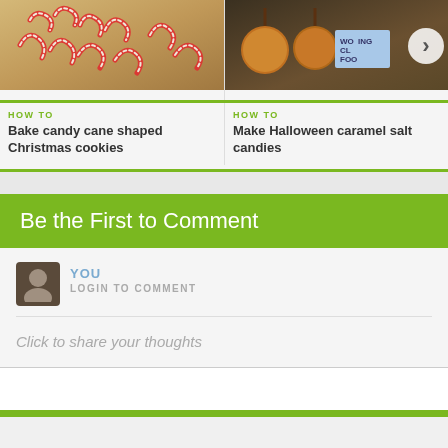[Figure (photo): Candy cane shaped Christmas cookies on a baking tray]
HOW TO
Bake candy cane shaped Christmas cookies
[Figure (photo): Halloween caramel salt candies (caramel apples) with a sign]
HOW TO
Make Halloween caramel salt candies
Be the First to Comment
YOU
LOGIN TO COMMENT
Click to share your thoughts